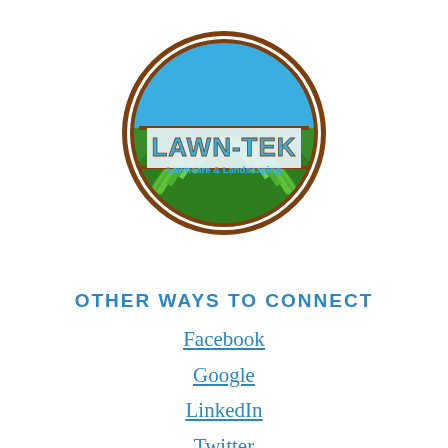[Figure (logo): Lawn-Tek Lawncare & Landscaping circular logo with brown border, blue sky upper half, green striped lawn lower half, and LAWN-TEK text in blue with brown outline, subtitle Lawncare & Landscaping]
OTHER WAYS TO CONNECT
Facebook
Google
LinkedIn
Twitter